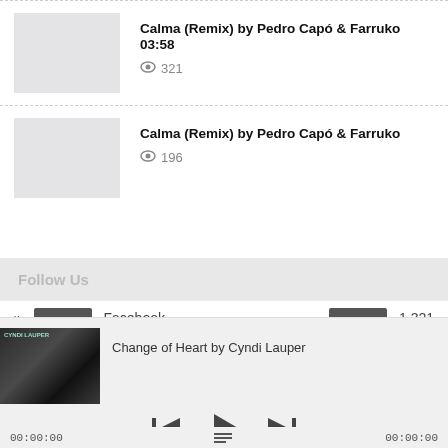[Figure (screenshot): Thumbnail placeholder for Calma (Remix) track 1]
Calma (Remix) by Pedro Capó & Farruko 03:58
👁 321
[Figure (screenshot): Thumbnail placeholder for Calma (Remix) track 2]
Calma (Remix) by Pedro Capó & Farruko
👁 196
Follow Us
Facebook  1,321
[Figure (screenshot): Music player showing Change of Heart by Cyndi Lauper with album art, playback controls, and time display 00:00:00]